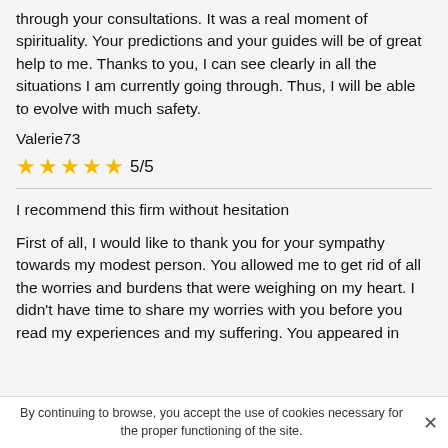through your consultations. It was a real moment of spirituality. Your predictions and your guides will be of great help to me. Thanks to you, I can see clearly in all the situations I am currently going through. Thus, I will be able to evolve with much safety.
Valerie73
★★★★★ 5/5
I recommend this firm without hesitation
First of all, I would like to thank you for your sympathy towards my modest person. You allowed me to get rid of all the worries and burdens that were weighing on my heart. I didn't have time to share my worries with you before you read my experiences and my suffering. You appeared in
By continuing to browse, you accept the use of cookies necessary for the proper functioning of the site.